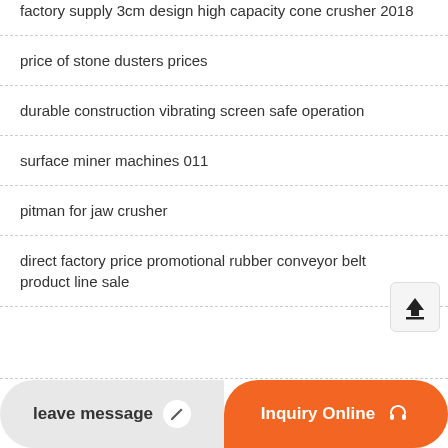factory supply 3cm design high capacity cone crusher 2018
price of stone dusters prices
durable construction vibrating screen safe operation
surface miner machines 011
pitman for jaw crusher
direct factory price promotional rubber conveyor belt product line sale
leave message | Inquiry Online